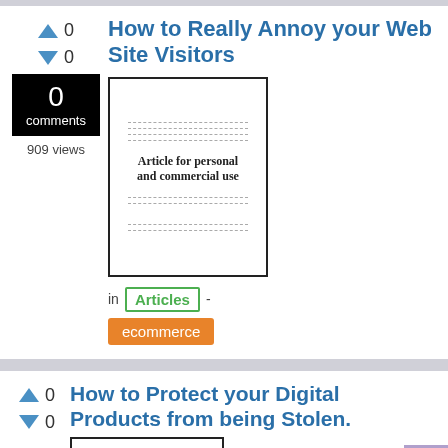How to Really Annoy your Web Site Visitors
[Figure (illustration): Thumbnail of an article document with dashed lines and text 'Article for personal and commercial use']
in Articles - ecommerce
0 comments
909 views
How to Protect your Digital Products from being Stolen.